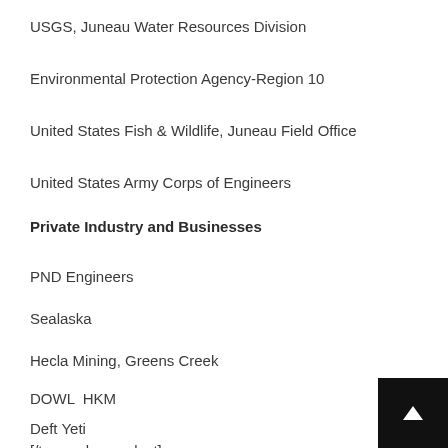USGS, Juneau Water Resources Division
Environmental Protection Agency-Region 10
United States Fish & Wildlife, Juneau Field Office
United States Army Corps of Engineers
Private Industry and Businesses
PND Engineers
Sealaska
Hecla Mining, Greens Creek
DOWL HKM
Deft Yeti
[/two_columns_last]